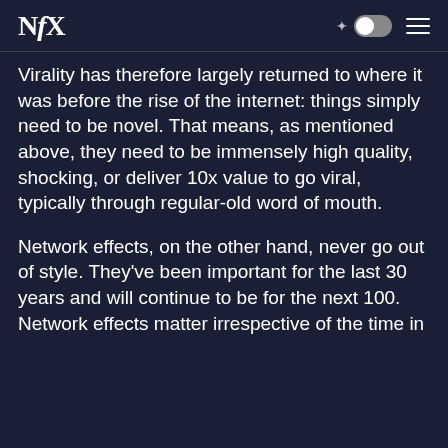NfX
Virality has therefore largely returned to where it was before the rise of the internet: things simply need to be novel. That means, as mentioned above, they need to be immensely high quality, shocking, or deliver 10x value to go viral, typically through regular-old word of mouth.
Network effects, on the other hand, never go out of style. They've been important for the last 30 years and will continue to be for the next 100. Network effects matter irrespective of the time in